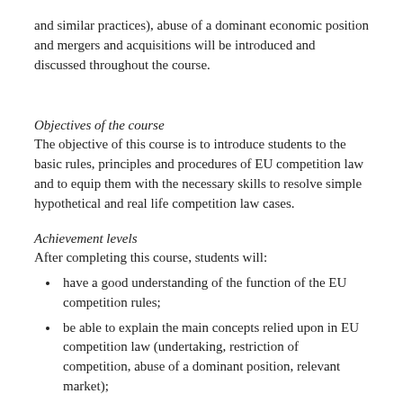and similar practices), abuse of a dominant economic position and mergers and acquisitions will be introduced and discussed throughout the course.
Objectives of the course
The objective of this course is to introduce students to the basic rules, principles and procedures of EU competition law and to equip them with the necessary skills to resolve simple hypothetical and real life competition law cases.
Achievement levels
After completing this course, students will:
have a good understanding of the function of the EU competition rules;
be able to explain the main concepts relied upon in EU competition law (undertaking, restriction of competition, abuse of a dominant position, relevant market);